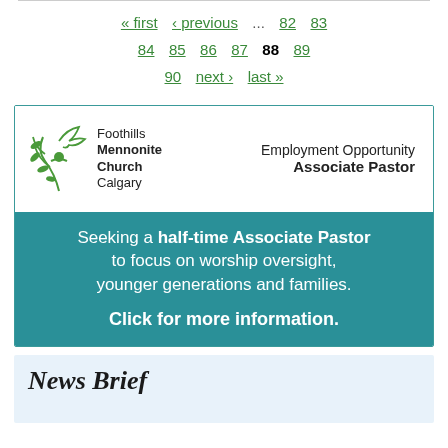« first ‹ previous ... 82 83 84 85 86 87 88 89 90 next › last »
[Figure (other): Foothills Mennonite Church Calgary logo with stylized green plant/dove graphic, and advertisement for Employment Opportunity Associate Pastor position. Teal banner: Seeking a half-time Associate Pastor to focus on worship oversight, younger generations and families. Click for more information.]
News Brief